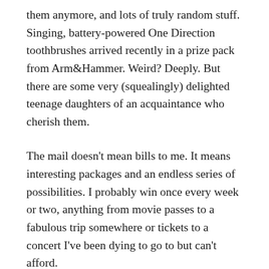them anymore, and lots of truly random stuff. Singing, battery-powered One Direction toothbrushes arrived recently in a prize pack from Arm&Hammer. Weird? Deeply. But there are some very (squealingly) delighted teenage daughters of an acquaintance who cherish them.
The mail doesn't mean bills to me. It means interesting packages and an endless series of possibilities. I probably win once every week or two, anything from movie passes to a fabulous trip somewhere or tickets to a concert I've been dying to go to but can't afford.
Entering contests is a lifestyle choice. It's not a job, precisely, as there's no guaranteed payoff, but it makes a bunch of wonderful extras financially viable. Yes, it's 45 minutes less sleep in the